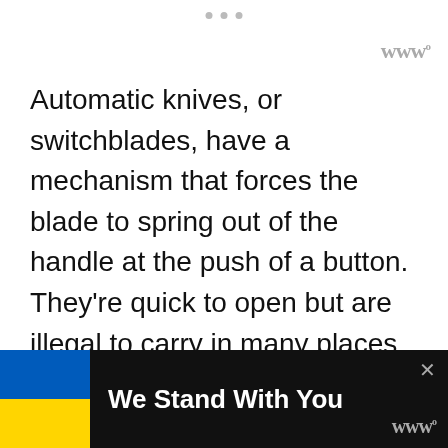Automatic knives, or switchblades, have a mechanism that forces the blade to spring out of the handle at the push of a button. They're quick to open but are illegal to carry in many places.
Assisted opening knives cover the middle ground between the two. They require some effort from the user to [start/open/...]